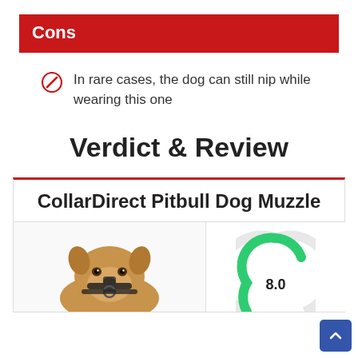Cons
In rare cases, the dog can still nip while wearing this one
Verdict & Review
CollarDirect Pitbull Dog Muzzle
[Figure (photo): Pitbull dog wearing a muzzle]
[Figure (donut-chart): Score gauge chart (partially visible)]